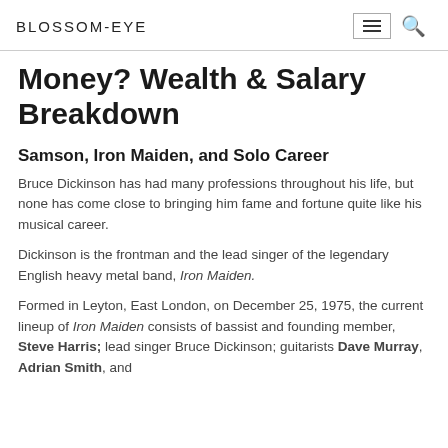BLOSSOM-EYE
Money? Wealth & Salary Breakdown
Samson, Iron Maiden, and Solo Career
Bruce Dickinson has had many professions throughout his life, but none has come close to bringing him fame and fortune quite like his musical career.
Dickinson is the frontman and the lead singer of the legendary English heavy metal band, Iron Maiden.
Formed in Leyton, East London, on December 25, 1975, the current lineup of Iron Maiden consists of bassist and founding member, Steve Harris; lead singer Bruce Dickinson; guitarists Dave Murray, Adrian Smith, and